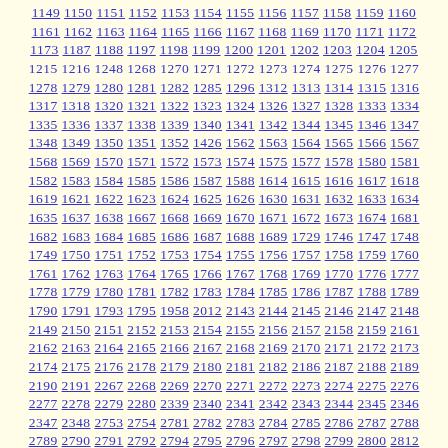1149 1150 1151 1152 1153 1154 1155 1156 1157 1158 1159 1160 1161 1162 1163 1164 1165 1166 1167 1168 1169 1170 1171 1172 1173 1187 1188 1197 1198 1199 1200 1201 1202 1203 1204 1205 1215 1216 1248 1268 1270 1271 1272 1273 1274 1275 1276 1277 1278 1279 1280 1281 1282 1285 1296 1312 1313 1314 1315 1316 1317 1318 1320 1321 1322 1323 1324 1326 1327 1328 1333 1334 1335 1336 1337 1338 1339 1340 1341 1342 1344 1345 1346 1347 1348 1349 1350 1351 1352 1426 1562 1563 1564 1565 1566 1567 1568 1569 1570 1571 1572 1573 1574 1575 1577 1578 1580 1581 1582 1583 1584 1585 1586 1587 1588 1614 1615 1616 1617 1618 1619 1621 1622 1623 1624 1625 1626 1630 1631 1632 1633 1634 1635 1637 1638 1667 1668 1669 1670 1671 1672 1673 1674 1681 1682 1683 1684 1685 1686 1687 1688 1689 1729 1746 1747 1748 1749 1750 1751 1752 1753 1754 1755 1756 1757 1758 1759 1760 1761 1762 1763 1764 1765 1766 1767 1768 1769 1770 1776 1777 1778 1779 1780 1781 1782 1783 1784 1785 1786 1787 1788 1789 1790 1791 1793 1795 1958 2012 2143 2144 2145 2146 2147 2148 2149 2150 2151 2152 2153 2154 2155 2156 2157 2158 2159 2161 2162 2163 2164 2165 2166 2167 2168 2169 2170 2171 2172 2173 2174 2175 2176 2178 2179 2180 2181 2182 2186 2187 2188 2189 2190 2191 2267 2268 2269 2270 2271 2272 2273 2274 2275 2276 2277 2278 2279 2280 2339 2340 2341 2342 2343 2344 2345 2346 2347 2348 2753 2754 2781 2782 2783 2784 2785 2786 2787 2788 2789 2790 2791 2792 2794 2795 2796 2797 2798 2799 2800 2812 2813 2814 2815 2816 2817 2818 2819 2820 2821 2853 2854 2910